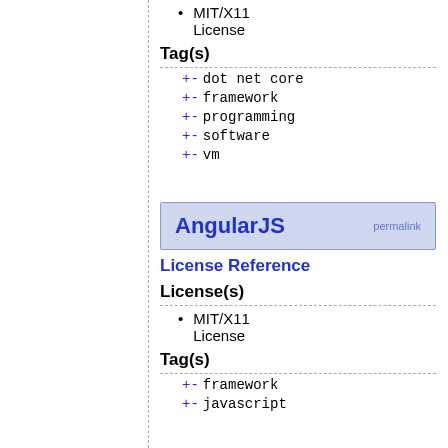MIT/X11 License
Tag(s)
+ -  dot net core
+ -  framework
+ -  programming
+ -  software
+ -  vm
AngularJS
License Reference
License(s)
MIT/X11 License
Tag(s)
+ -  framework
+ -  javascript